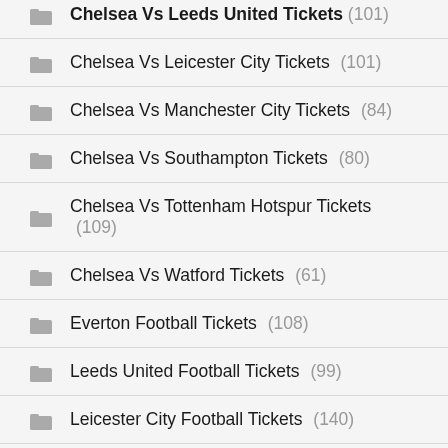Chelsea Vs Leeds United Tickets (cut off at top)
Chelsea Vs Leicester City Tickets (101)
Chelsea Vs Manchester City Tickets (84)
Chelsea Vs Southampton Tickets (80)
Chelsea Vs Tottenham Hotspur Tickets (109)
Chelsea Vs Watford Tickets (61)
Everton Football Tickets (108)
Leeds United Football Tickets (99)
Leicester City Football Tickets (140)
Liverpool Football Tickets (319)